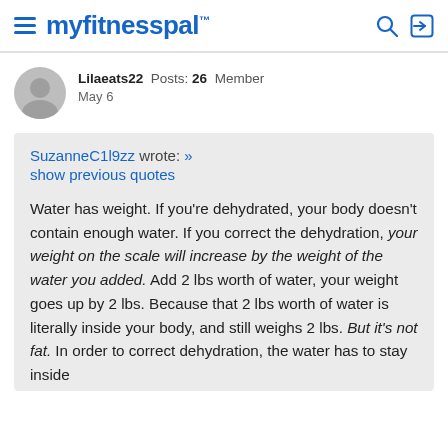myfitnesspal
Lilaeats22  Posts: 26  Member
May 6
SuzanneC1l9zz wrote: »
show previous quotes
Water has weight. If you're dehydrated, your body doesn't contain enough water. If you correct the dehydration, your weight on the scale will increase by the weight of the water you added. Add 2 lbs worth of water, your weight goes up by 2 lbs. Because that 2 lbs worth of water is literally inside your body, and still weighs 2 lbs. But it's not fat. In order to correct dehydration, the water has to stay inside